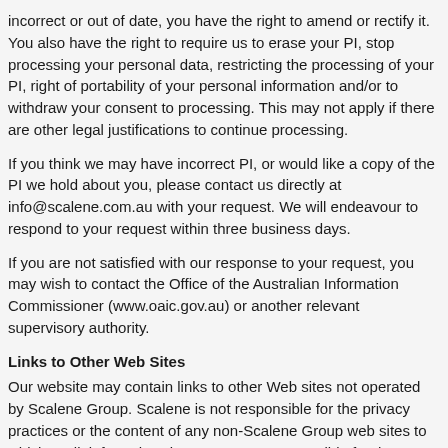incorrect or out of date, you have the right to amend or rectify it. You also have the right to require us to erase your PI, stop processing your personal data, restricting the processing of your PI, right of portability of your personal information and/or to withdraw your consent to processing. This may not apply if there are other legal justifications to continue processing.
If you think we may have incorrect PI, or would like a copy of the PI we hold about you, please contact us directly at info@scalene.com.au with your request. We will endeavour to respond to your request within three business days.
If you are not satisfied with our response to your request, you may wish to contact the Office of the Australian Information Commissioner (www.oaic.gov.au) or another relevant supervisory authority.
Links to Other Web Sites
Our website may contain links to other Web sites not operated by Scalene Group. Scalene is not responsible for the privacy practices or the content of any non-Scalene Group web sites to which we link from the Site. We are not responsible for the protection and privacy of any